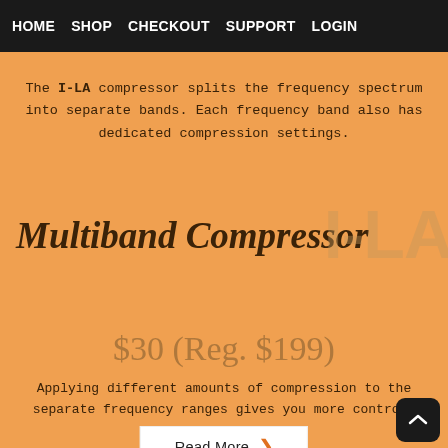HOME  SHOP  CHECKOUT  SUPPORT  LOGIN
The I-LA compressor splits the frequency spectrum into separate bands. Each frequency band also has dedicated compression settings.
Multiband Compressor
$30 (Reg. $199)
Applying different amounts of compression to the separate frequency ranges gives you more control.
Read More